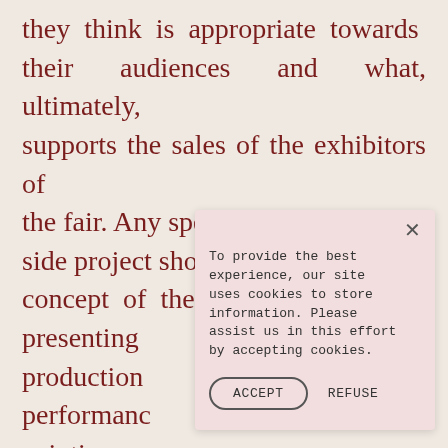they think is appropriate towards their audiences and what, ultimately, supports the sales of the exhibitors of the fair. Any special presentation or side project should fit in the overall concept of the fair. If this means presenting production performance painting For viennac program wa a clear dem At our artist are presented and they work more and more in mixed art forms
[Figure (other): Cookie consent popup overlay with close button (×), message text about cookies, and ACCEPT/REFUSE buttons]